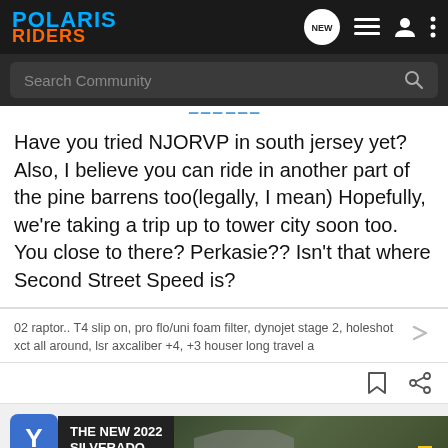POLARIS RIDERS
Have you tried NJORVP in south jersey yet? Also, I believe you can ride in another part of the pine barrens too(legally, I mean) Hopefully, we're taking a trip up to tower city soon too. You close to there? Perkasie?? Isn't that where Second Street Speed is?
02 raptor.. T4 slip on, pro flo/uni foam filter, dynojet stage 2, holeshot xct all around, lsr axcaliber +4, +3 houser long travel a
[Figure (screenshot): Chevrolet Silverado 2022 advertisement banner at bottom of page]